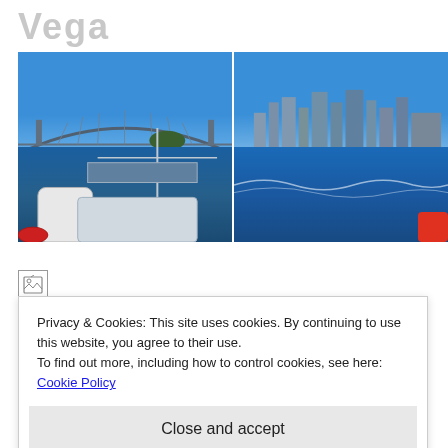Vega
[Figure (photo): Two side-by-side photos taken from a sailboat on Sydney Harbour. Left photo shows the Sydney Harbour Bridge in the background with the boat's deck and equipment visible in the foreground. Right photo shows the Sydney CBD skyline including the Opera House viewed from the water.]
[Figure (photo): Small broken/loading image icon placeholder]
Privacy & Cookies: This site uses cookies. By continuing to use this website, you agree to their use.
To find out more, including how to control cookies, see here: Cookie Policy
Close and accept